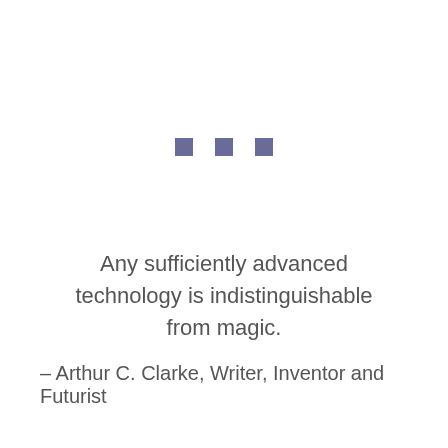[Figure (other): Three small purple/slate-colored square decorative dots arranged horizontally]
Any sufficiently advanced technology is indistinguishable from magic.
– Arthur C. Clarke, Writer, Inventor and Futurist